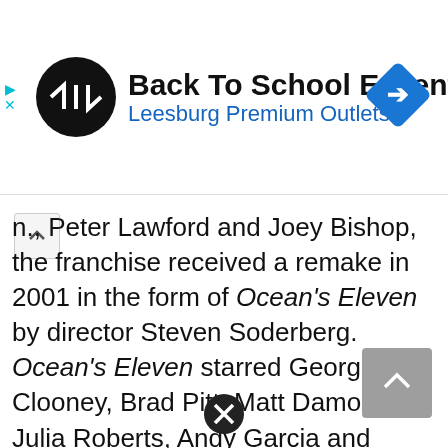[Figure (other): Advertisement banner: Back To School Essentials at Leesburg Premium Outlets with circular logo and navigation diamond icon]
n., Peter Lawford and Joey Bishop, the franchise received a remake in 2001 in the form of Ocean's Eleven by director Steven Soderberg. Ocean's Eleven starred George Clooney, Brad Pitt, Matt Damon, Julia Roberts, Andy Garcia and many more and became a box office hit, grossing $450 million worldwide.